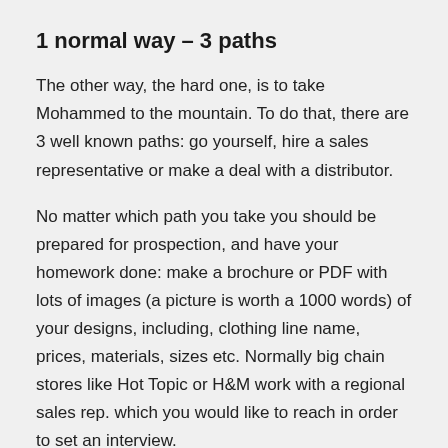1 normal way – 3 paths
The other way, the hard one, is to take Mohammed to the mountain. To do that, there are 3 well known paths: go yourself, hire a sales representative or make a deal with a distributor.
No matter which path you take you should be prepared for prospection, and have your homework done: make a brochure or PDF with lots of images (a picture is worth a 1000 words) of your designs, including, clothing line name, prices, materials, sizes etc. Normally big chain stores like Hot Topic or H&M work with a regional sales rep. which you would like to reach in order to set an interview.